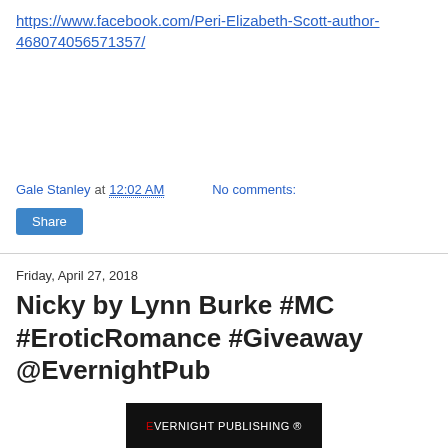https://www.facebook.com/Peri-Elizabeth-Scott-author-468074056571357/
Gale Stanley at 12:02 AM   No comments:
Share
Friday, April 27, 2018
Nicky by Lynn Burke #MC #EroticRomance #Giveaway @EvernightPub
[Figure (photo): Evernight Publishing logo/banner in dark background with red E]